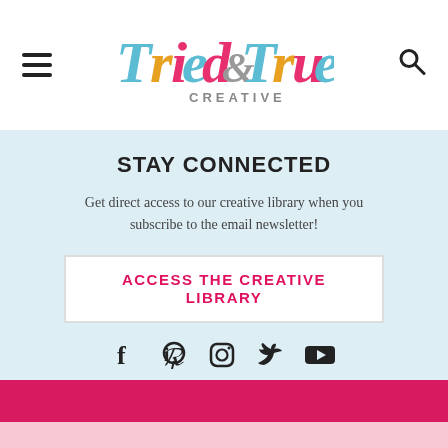[Figure (logo): Tried & True Creative colorful script logo with hamburger menu on left and search icon on right]
STAY CONNECTED
Get direct access to our creative library when you subscribe to the email newsletter!
ACCESS THE CREATIVE LIBRARY
[Figure (infographic): Social media icons: Facebook, Pinterest, Instagram, Twitter, YouTube]
[Figure (illustration): Hot pink band followed by light pink band at bottom of page]